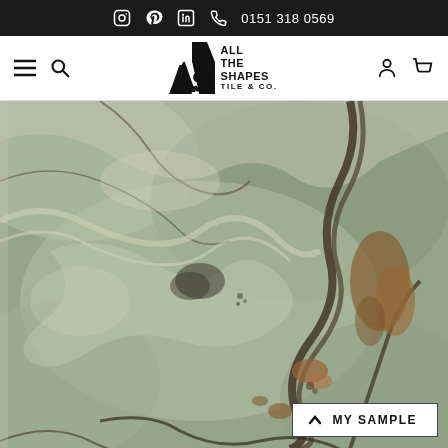0151 318 0569 — social icons: Instagram, Pinterest, LinkedIn, phone
[Figure (logo): All The Shapes Tile & Co. logo with stylized A and S lettermark]
[Figure (photo): Close-up photograph of a marble or onyx tile with green, white, cream, and brown veining patterns with rust-colored intrusions]
MY SAMPLE